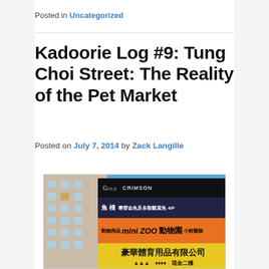Posted in Uncategorized
Kadoorie Log #9: Tung Choi Street: The Reality of the Pet Market
Posted on July 7, 2014 by Zack Langille
[Figure (photo): Stacked colorful shop signs in Chinese and English on Tung Choi Street, Hong Kong, with a building visible on the left and blue sky in the background. Signs include Mini Zoo, Green Concept, and other pet/sports shops.]